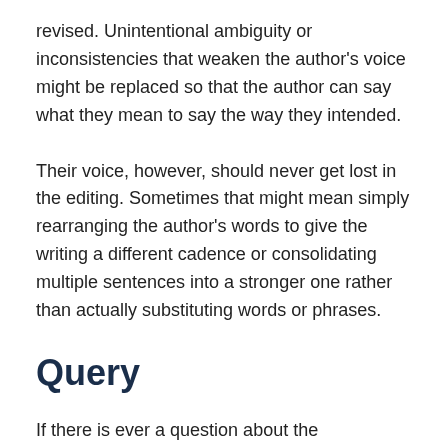revised. Unintentional ambiguity or inconsistencies that weaken the author's voice might be replaced so that the author can say what they mean to say the way they intended.
Their voice, however, should never get lost in the editing. Sometimes that might mean simply rearranging the author's words to give the writing a different cadence or consolidating multiple sentences into a stronger one rather than actually substituting words or phrases.
Query
If there is ever a question about the appropriateness of any amendment, it might be best to query the author so they can make that call. This doesn't mean editors should